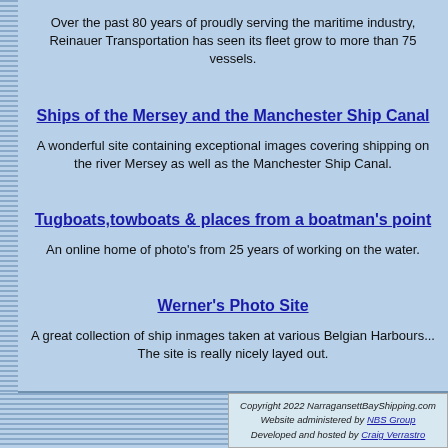Over the past 80 years of proudly serving the maritime industry, Reinauer Transportation has seen its fleet grow to more than 75 vessels.
Ships of the Mersey and the Manchester Ship Canal
A wonderful site containing exceptional images covering shipping on the river Mersey as well as the Manchester Ship Canal.
Tugboats,towboats & places from a boatman's point
An online home of photo's from 25 years of working on the water.
Werner's Photo Site
A great collection of ship inmages taken at various Belgian Harbours... The site is really nicely layed out.
Copyright 2022 NarragansettBayShipping.com Website administered by NBS Group Developed and hosted by Craig Verrastro